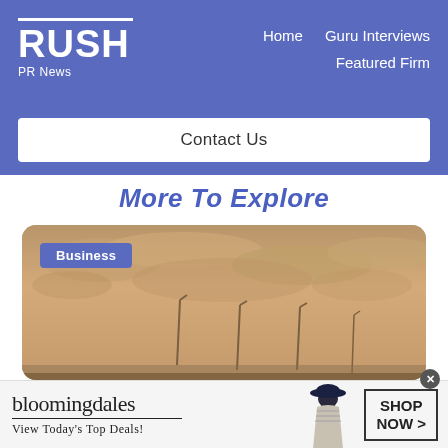RUSH PR News — Home | Guru Interviews | Featured Firm | Contact Us
More To Explore
[Figure (photo): A card with a sepia-toned outdoor photo showing lamp posts against a cloudy sky, with a 'Business' category tag in the upper left.]
[Figure (infographic): Bloomingdales advertisement banner: logo text 'bloomingdales', underline, tagline 'View Today's Top Deals!', model wearing a hat, and a 'SHOP NOW >' button.]